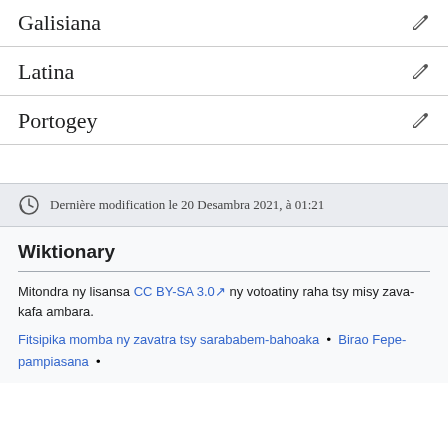Galisiana
Latina
Portogey
Dernière modification le 20 Desambra 2021, à 01:21
Wiktionary
Mitondra ny lisansa CC BY-SA 3.0 ny votoatiny raha tsy misy zava-kafa ambara.
Fitsipika momba ny zavatra tsy sarababem-bahoaka • Birao Fepe-pampiasana •